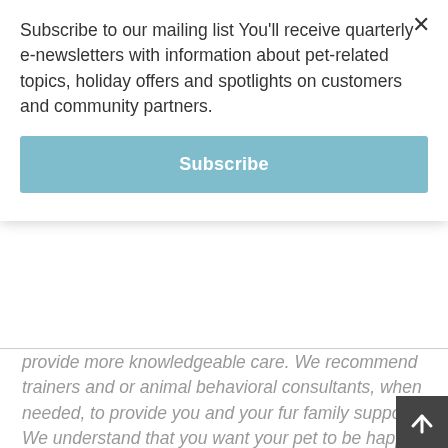Subscribe to our mailing list You'll receive quarterly e-newsletters with information about pet-related topics, holiday offers and spotlights on customers and community partners.
Subscribe
provide more knowledgeable care. We recommend trainers and or animal behavioral consultants, when needed, to provide you and your fur family support. We understand that you want your pet to be happy at home and elsewhere, and we are pleased to partner with you to help alleviate stress, fear, and anxiety. We also specialize in working with senior pets.
Awwdorable Pets is bonded and insured through Pet Sitter Associates.